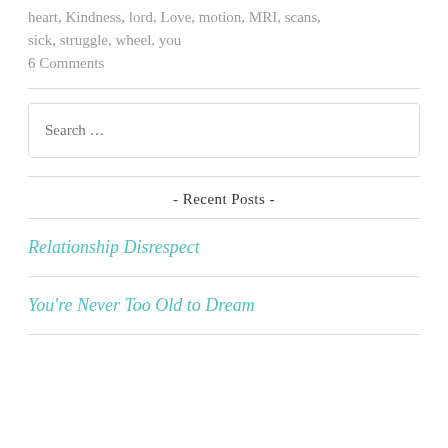heart, Kindness, lord, Love, motion, MRI, scans, sick, struggle, wheel, you
6 Comments
Search …
- Recent Posts -
Relationship Disrespect
You're Never Too Old to Dream